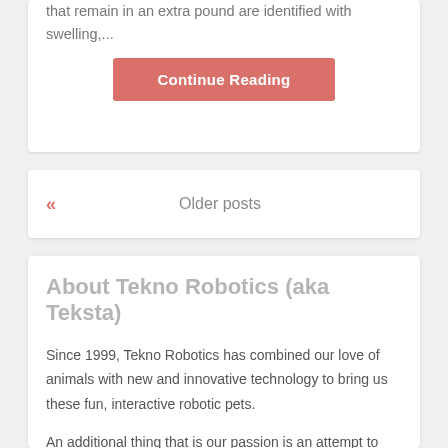that remain in an extra pound are identified with swelling,...
Continue Reading
Older posts
About Tekno Robotics (aka Teksta)
Since 1999, Tekno Robotics has combined our love of animals with new and innovative technology to bring us these fun, interactive robotic pets.
An additional thing that is our passion is an attempt to robotize websites for adults. Our robots are constantly